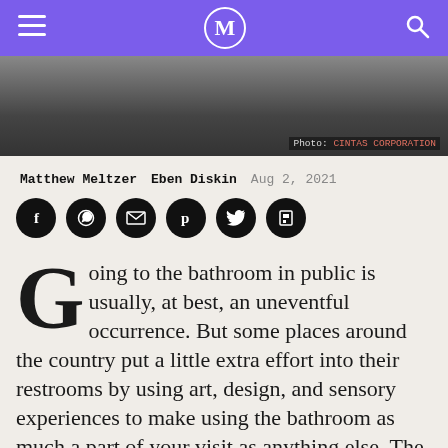M (logo)
[Figure (photo): Partial photo of a bathroom/surface, dark tones, with caption 'Photo: CINTAS CORPORATION']
Matthew Meltzer  Eben Diskin  Aug 2, 2021
[Figure (other): Social sharing icons: Facebook, WhatsApp, Email, Pinterest, Twitter, Flipboard]
Going to the bathroom in public is usually, at best, an uneventful occurrence. But some places around the country put a little extra effort into their restrooms by using art, design, and sensory experiences to make using the bathroom as much a part of your visit as anything else. The business products wizards at Cintas give an annual award for best restroom in America, and just released their nominees for 2021. You can take a